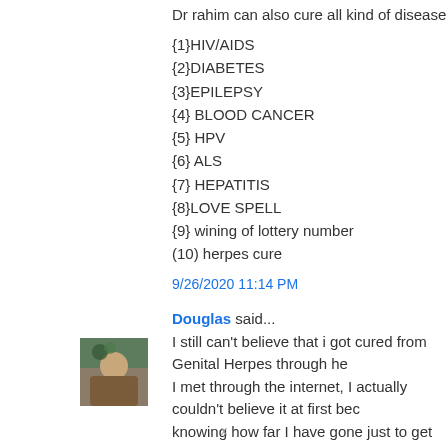Dr rahim can also cure all kind of disease with herbal medicine li
{1}HIV/AIDS
{2}DIABETES
{3}EPILEPSY
{4} BLOOD CANCER
{5} HPV
{6} ALS
{7} HEPATITIS
{8}LOVE SPELL
{9} wining of lottery number
(10) herpes cure
9/26/2020 11:14 PM
Douglas said...
I still can't believe that i got cured from Genital Herpes through he I met through the internet, I actually couldn't believe it at first bec knowing how far I have gone just to get rid of it. Dr Ogedegbe se instructed me and here I am living a happy life once again, a big